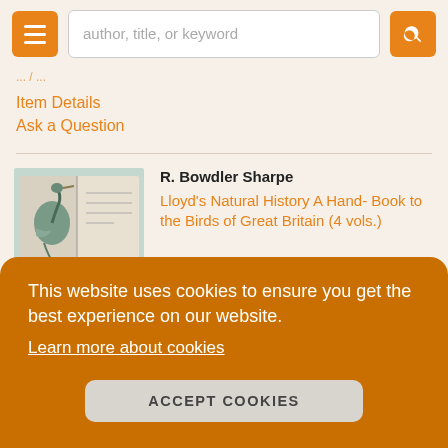author, title, or keyword
Item Details
Ask a Question
R. Bowdler Sharpe
Lloyd's Natural History A Hand- Book to the Birds of Great Britain (4 vols.)
dition. ames 14, for lled for re.....
This website uses cookies to ensure you get the best experience on our website.
Learn more about cookies
ACCEPT COOKIES